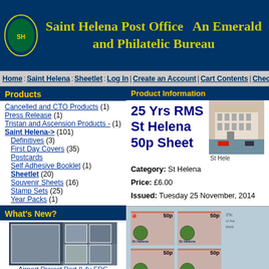Saint Helena Post Office  An Emerald and Philatelic Bureau
Home : Saint Helena : Sheetlet :  Log In | Create an Account | Cart Contents | Checkout
Products
Cancelled and CTO Products (1)
Press Release (1)
Tristan and Ascension Products - (1)
Saint Helena-> (101)
Definitives (3)
First Day Covers (35)
Postcards
Self Adhesive Booklet (1)
Sheetlet (20)
Souvenir Sheets (16)
Stamp Sets (25)
Year Packs (1)
What's New?
[Figure (photo): Thumbnail image of Airport Project Part II 4v FDC stamp cover]
Airport Project Part II 4v FDC
Quick Find
Use keywords to find the product you are looking for.
Advanced Search
Product Information
25 Yrs RMS St Helena 50p Sheet
[Figure (photo): Photo of St Helena building/street scene]
St Hele
Category: St Helena
Price: £6.00
Issued: Tuesday 25 November, 2014
[Figure (photo): Stamp sheet showing 25 Yrs RMS St Helena 50p stamps in grid layout with light blue background]